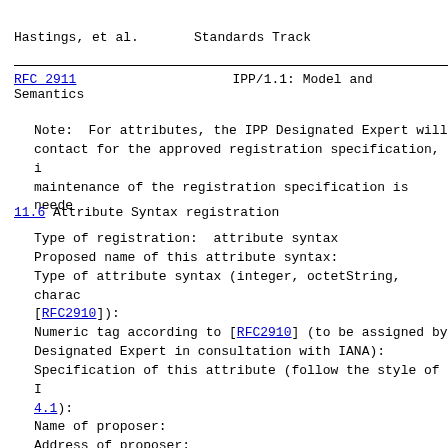Hastings, et al.                    Standards Track
RFC 2911                    IPP/1.1: Model and Semantics
Note:  For attributes, the IPP Designated Expert will contact for the approved registration specification, maintenance of the registration specification is needed.
11.6 Attribute Syntax registration
Type of registration:  attribute syntax
Proposed name of this attribute syntax:
Type of attribute syntax (integer, octetString, characo [RFC2910]):
Numeric tag according to [RFC2910] (to be assigned by Designated Expert in consultation with IANA):
Specification of this attribute (follow the style of 4.1):
Name of proposer:
Address of proposer:
Email address of proposer: